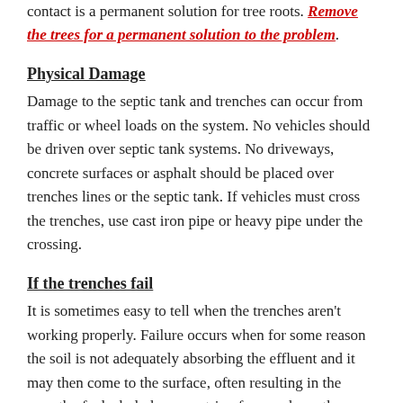contact is a permanent solution for tree roots. Remove the trees for a permanent solution to the problem.
Physical Damage
Damage to the septic tank and trenches can occur from traffic or wheel loads on the system. No vehicles should be driven over septic tank systems. No driveways, concrete surfaces or asphalt should be placed over trenches lines or the septic tank. If vehicles must cross the trenches, use cast iron pipe or heavy pipe under the crossing.
If the trenches fail
It is sometimes easy to tell when the trenches aren't working properly. Failure occurs when for some reason the soil is not adequately absorbing the effluent and it may then come to the surface, often resulting in the growth of a lush dark green strip of grass above the trench, which, for those without detailed plans of the premises, will also indicate where the trenches are situated. A black-grey odorous liquid may also be seen at the soil surface when failure occurs. If